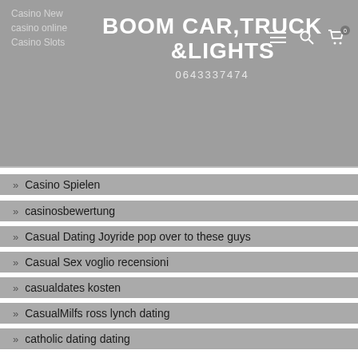BOOM CAR,TRUCK &LIGHTS
0643337474
Casino New
casino online
Casino Slots
Casino Spielen
casinosbewertung
Casual Dating Joyride pop over to these guys
Casual Sex voglio recensioni
casualdates kosten
CasualMilfs ross lynch dating
catholic dating dating
Catholic Dating Sites app
Catholic Dating Sites review
catholic singles come funziona
catholic singles inscription
CatholicSingles black dating